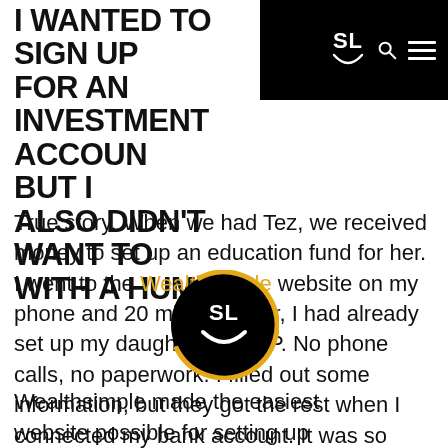I WANTED TO SIGN UP FOR AN INVESTMENT ACCOUNT, BUT I ALSO DIDN'T WANT TO DEAL WITH A HUMAN.
[Figure (logo): Wealthsimple SL smiley face logo in black navigation bar with search and menu icons]
True story. When we had Tez, we received money to set up an education fund for her. I went to the Wealthsimple website on my phone and 20 minutes later, I had already set up my daughter's RESP. No phone calls, no paperwork. I filled out some information, but they got the rest when I connected my bank account. It was so simple.
[Figure (logo): Wealthsimple circular logo with SL and smiley face, gold ring border on white background]
Wealthsimple made the easiest website possible for setting up...